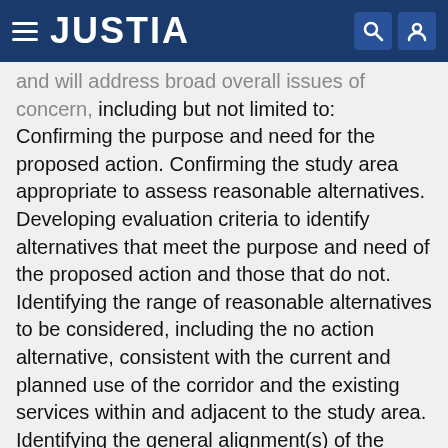JUSTIA
and will address broad overall issues of concern, including but not limited to: Confirming the purpose and need for the proposed action. Confirming the study area appropriate to assess reasonable alternatives. Developing evaluation criteria to identify alternatives that meet the purpose and need of the proposed action and those that do not. Identifying the range of reasonable alternatives to be considered, including the no action alternative, consistent with the current and planned use of the corridor and the existing services within and adjacent to the study area. Identifying the general alignment(s) of the reasonable alternatives. Identifying right-of-way requirements for the reasonable alternatives. Identifying the infrastructure and equipment investment requirements for the reasonable alternatives. Specifying the future no-build alternative that reflects already planned highway and transit